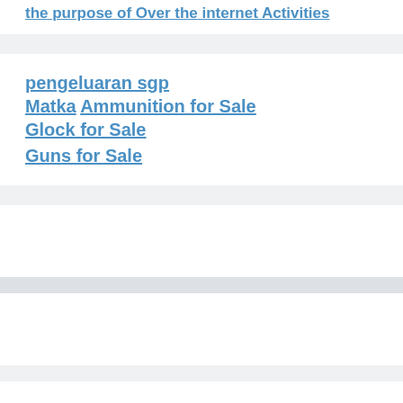the purpose of Over the internet Activities
pengeluaran sgp
Matka Ammunition for Sale
Glock for Sale
Guns for Sale